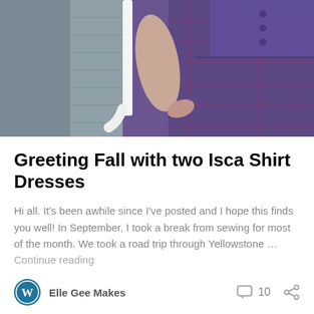[Figure (photo): Two photos side by side: left photo shows a person wearing a long purple/blue plaid shirt dress standing in front of a white door and gray shingle siding; right photo shows a partial view of another outfit with gray shingle siding in background]
Greeting Fall with two Isca Shirt Dresses
Hi all. It's been awhile since I've posted and I hope this finds you well! In September, I took a break from sewing for most of the month. We took a road trip through Yellowstone … Continue reading
Elle Gee Makes   10